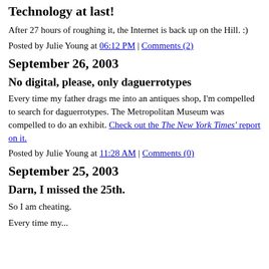Technology at last!
After 27 hours of roughing it, the Internet is back up on the Hill. :)
Posted by Julie Young at 06:12 PM | Comments (2)
September 26, 2003
No digital, please, only daguerrotypes
Every time my father drags me into an antiques shop, I'm compelled to search for daguerrotypes. The Metropolitan Museum was compelled to do an exhibit. Check out the The New York Times' report on it.
Posted by Julie Young at 11:28 AM | Comments (0)
September 25, 2003
Darn, I missed the 25th.
So I am cheating.
Every time my...